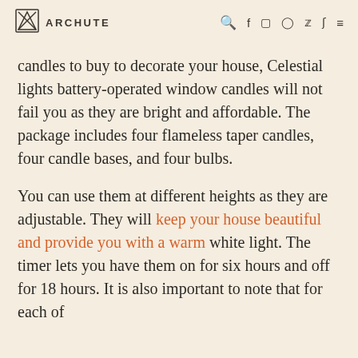ARCHUTE
candles to buy to decorate your house, Celestial lights battery-operated window candles will not fail you as they are bright and affordable. The package includes four flameless taper candles, four candle bases, and four bulbs.
You can use them at different heights as they are adjustable. They will keep your house beautiful and provide you with a warm white light. The timer lets you have them on for six hours and off for 18 hours. It is also important to note that for each of